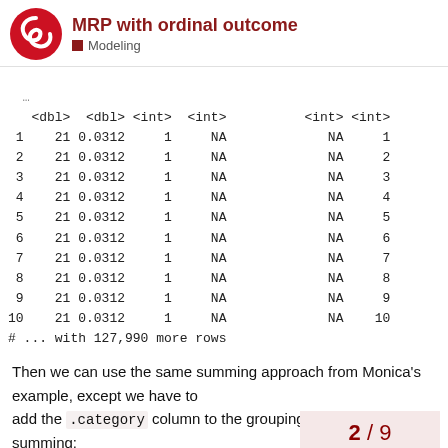MRP with ordinal outcome — Modeling
|  | <dbl> | <dbl> | <int> | <int> |  | <int> | <int> |
| --- | --- | --- | --- | --- | --- | --- | --- |
| 1 | 21 | 0.0312 | 1 | NA |  | NA | 1 |
| 2 | 21 | 0.0312 | 1 | NA |  | NA | 2 |
| 3 | 21 | 0.0312 | 1 | NA |  | NA | 3 |
| 4 | 21 | 0.0312 | 1 | NA |  | NA | 4 |
| 5 | 21 | 0.0312 | 1 | NA |  | NA | 5 |
| 6 | 21 | 0.0312 | 1 | NA |  | NA | 6 |
| 7 | 21 | 0.0312 | 1 | NA |  | NA | 7 |
| 8 | 21 | 0.0312 | 1 | NA |  | NA | 8 |
| 9 | 21 | 0.0312 | 1 | NA |  | NA | 9 |
| 10 | 21 | 0.0312 | 1 | NA |  | NA | 10 |
# ... with 127,990 more rows
Then we can use the same summing approach from Monica's example, except we have to add the .category column to the grouping factors when summing:
2 / 9